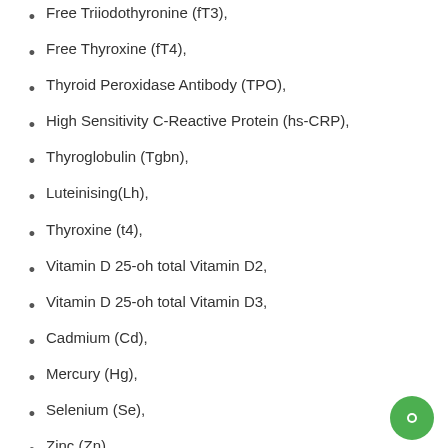Free Triiodothyronine (fT3),
Free Thyroxine (fT4),
Thyroid Peroxidase Antibody (TPO),
High Sensitivity C-Reactive Protein (hs-CRP),
Thyroglobulin (Tgbn),
Luteinising(Lh),
Thyroxine (t4),
Vitamin D 25-oh total Vitamin D2,
Vitamin D 25-oh total Vitamin D3,
Cadmium (Cd),
Mercury (Hg),
Selenium (Se),
Zinc (Zn),
Magnesium (Mg),
Copper (Cu),
Insulin-Like Growth Factor (IGF-1), also known as Somatomedin C,
Insulin (IN),
High Sensitivity C-Reactive Protein (hsCRP),